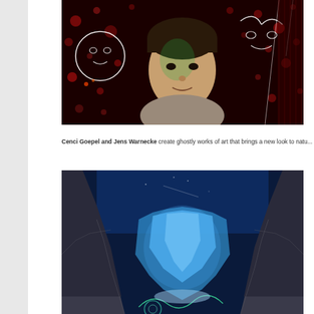[Figure (photo): A young person's face surrounded by light painting art - glowing white line drawings of cartoon faces/characters on a dark red bokeh background with green light on face]
Cenci Goepel and Jens Warnecke create ghostly works of art that brings a new look to natu...
[Figure (photo): A glacier in a rocky mountain canyon illuminated in blue light at night, with light painting swirls at the bottom, under a deep blue sky]